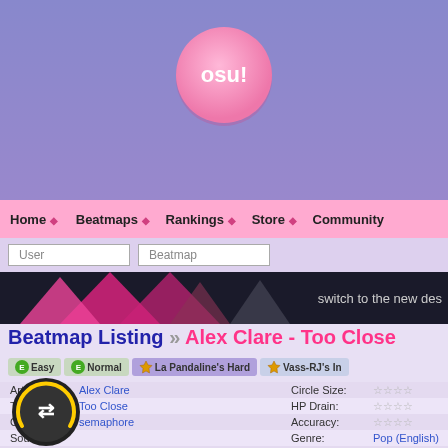[Figure (logo): osu! game logo - pink circle with 'osu!' text]
Home | Beatmaps | Rankings | Store | Community
User | Beatmap (search inputs)
[Figure (infographic): Dark banner with pink triangles and text 'switch to the new des']
Beatmap Listing » Alex Clare - Too Close
Easy | Normal | La Pandaline's Hard | Vass-RJ's In
| Field | Value | Field2 | Value2 |
| --- | --- | --- | --- |
| Artist: | Alex Clare | Circle Size: | ☆☆☆☆ |
| Title: | Too Close | HP Drain: | ☆☆☆☆ |
| Creator: | semaphore | Accuracy: | ☆☆☆☆ |
| Source: |  | Genre: | Pop (English) |
| Tags: | vass_bass reiji-rj la cataline lc pandahero collaboration english electronic pop rock dubstep lateness of the hour | User Rating: | 10 | 97 |
| Submitted: | Sep 10, 2021 | Rating Spread: |  |
| Ranked: | Dec 8, 2021 |  |  |